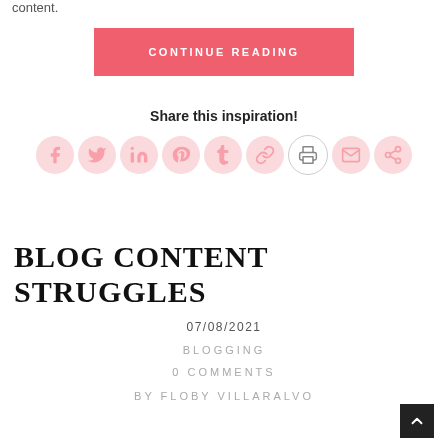content.
CONTINUE READING
Share this inspiration!
[Figure (infographic): Row of 9 social media share icon circles in light pink: Facebook, Twitter, LinkedIn, Pinterest, Tumblr, Copy Link, Print, Email, More]
BLOG CONTENT STRUGGLES
07/08/2021
BLOGGING
0 COMMENTS
BY FLOBY VILLARALVO